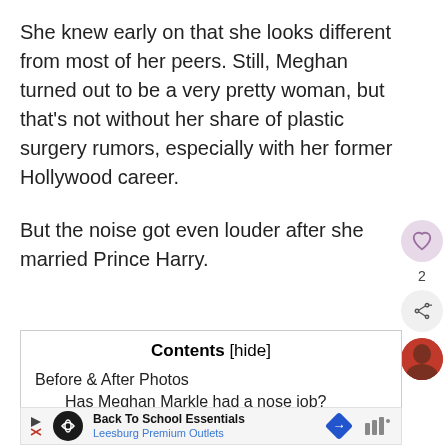She knew early on that she looks different from most of her peers. Still, Meghan turned out to be a very pretty woman, but that's not without her share of plastic surgery rumors, especially with her former Hollywood career.
But the noise got even louder after she married Prince Harry.
| Contents [hide] |
| --- |
| Before & After Photos |
| Has Meghan Markle had a nose job? |
[Figure (infographic): Advertisement banner for Back To School Essentials at Leesburg Premium Outlets]